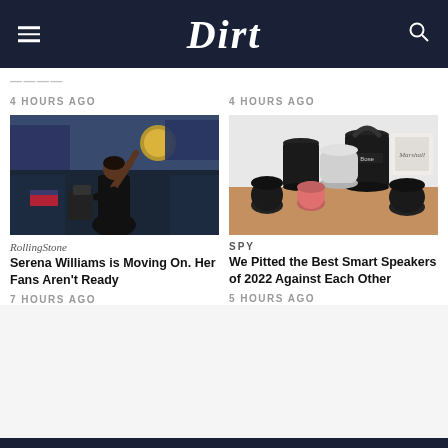Dirt
4 HOURS AGO
4 HOURS AGO
[Figure (photo): Serena Williams waving to the crowd at a tennis stadium]
[Figure (photo): Various smart speakers on a wooden surface including Bose, Apple HomePod, and Marshall]
RollingStone
SPY
Serena Williams is Moving On. Her Fans Aren’t Ready
We Pitted the Best Smart Speakers of 2022 Against Each Other
7 HOURS AGO
5 HOURS AGO